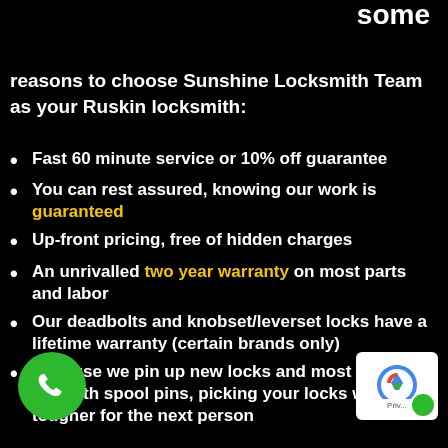some
reasons to choose Sunshine Locksmith Team as your Ruskin locksmith:
Fast 60 minute service or 10% off guarantee
You can rest assured, knowing our work is guaranteed
Up-front pricing, free of hidden charges
An unrivalled two year warranty on most parts and labor
Our deadbolts and knobset/leverset locks have a lifetime warranty (certain brands only)
Because we pin up new locks and most re-ocks with spool pins, picking your locks w- tougher for the next person
[Figure (logo): Green phone call button (circular green button with white phone icon)]
[Figure (logo): reCAPTCHA badge with privacy text]